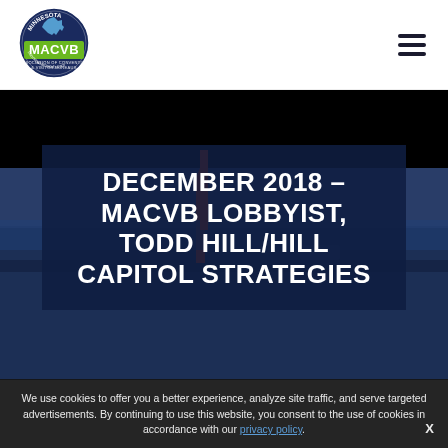[Figure (logo): Minnesota MACVB logo — circular badge with green 'MACVB' text, blue Minnesota state shape, and 'minnesotamacvb.com' around edge]
[Figure (illustration): Hamburger menu icon (three horizontal lines) in top-right corner]
[Figure (photo): Dark hero image with black upper band and deep blue lower section; a red tower/buoy visible against the scene, suggesting a lakeside or harbor view at dusk]
DECEMBER 2018 – MACVB LOBBYIST, TODD HILL/HILL CAPITOL STRATEGIES
We use cookies to offer you a better experience, analyze site traffic, and serve targeted advertisements. By continuing to use this website, you consent to the use of cookies in accordance with our privacy policy.